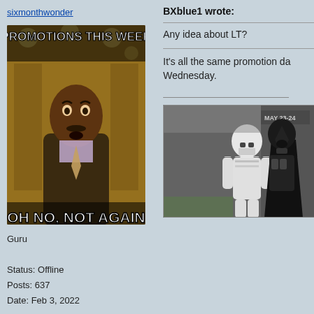sixmonthwonder
[Figure (photo): Meme image: Steve Harvey looking shocked with text 'PROMOTIONS THIS WEEK' at top and 'OH NO, NOT AGAIN' at bottom. imgflip.com watermark.]
Guru
Status: Offline
Posts: 637
Date: Feb 3, 2022
BXblue1 wrote:
Any idea about LT?
It's all the same promotion da Wednesday.
[Figure (screenshot): Black and white image of Star Wars characters: a Stormtrooper and Darth Vader. Text 'MAY 23-24' visible in top right.]